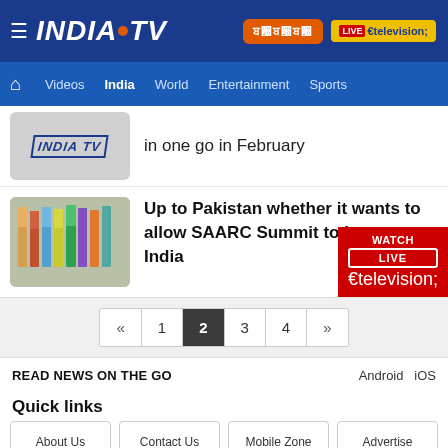INDIA TV — Videos | India | World | Entertainment | Sports
in one go in February
[Figure (screenshot): India TV logo placeholder thumbnail]
[Figure (photo): SAARC flags photo thumbnail]
Up to Pakistan whether it wants to allow SAARC Summit to happen: India
« 1 2 3 4 »
READ NEWS ON THE GO   Android   iOS
Quick links
About Us
Contact Us
Mobile Zone
Advertise